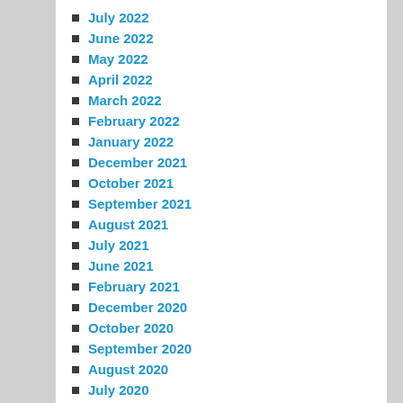July 2022
June 2022
May 2022
April 2022
March 2022
February 2022
January 2022
December 2021
October 2021
September 2021
August 2021
July 2021
June 2021
February 2021
December 2020
October 2020
September 2020
August 2020
July 2020
June 2020
May 2020